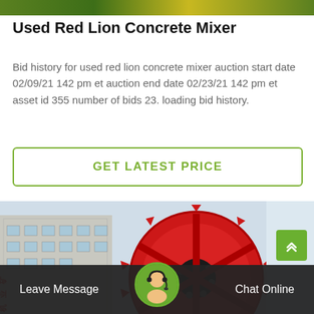[Figure (photo): Top green/gold gradient banner strip]
Used Red Lion Concrete Mixer
Bid history for used red lion concrete mixer auction start date 02/09/21 142 pm et auction end date 02/23/21 142 pm et asset id 355 number of bids 23. loading bid history.
GET LATEST PRICE
[Figure (photo): Photo of large red industrial wheel/mixer machine in front of a building]
Leave Message   Chat Online